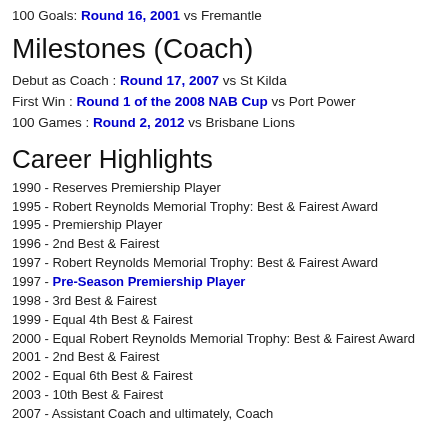100 Goals: Round 16, 2001 vs Fremantle
Milestones (Coach)
Debut as Coach : Round 17, 2007 vs St Kilda
First Win : Round 1 of the 2008 NAB Cup vs Port Power
100 Games : Round 2, 2012 vs Brisbane Lions
Career Highlights
1990 - Reserves Premiership Player
1995 - Robert Reynolds Memorial Trophy: Best & Fairest Award
1995 - Premiership Player
1996 - 2nd Best & Fairest
1997 - Robert Reynolds Memorial Trophy: Best & Fairest Award
1997 - Pre-Season Premiership Player
1998 - 3rd Best & Fairest
1999 - Equal 4th Best & Fairest
2000 - Equal Robert Reynolds Memorial Trophy: Best & Fairest Award
2001 - 2nd Best & Fairest
2002 - Equal 6th Best & Fairest
2003 - 10th Best & Fairest
2007 - Assistant Coach and ultimately, Coach